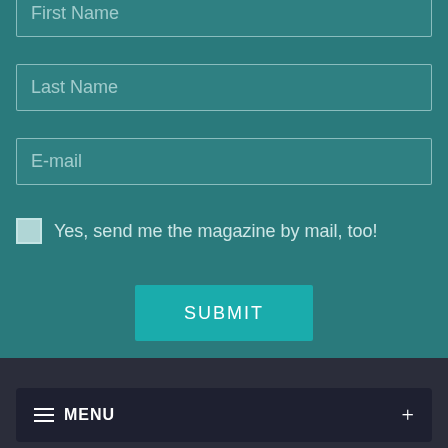First Name
Last Name
E-mail
Yes, send me the magazine by mail, too!
SUBMIT
≡ MENU  +